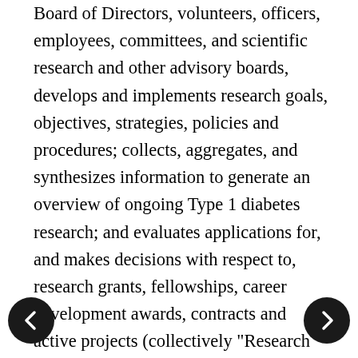Board of Directors, volunteers, officers, employees, committees, and scientific research and other advisory boards, develops and implements research goals, objectives, strategies, policies and procedures; collects, aggregates, and synthesizes information to generate an overview of ongoing Type 1 diabetes research; and evaluates applications for, and makes decisions with respect to, research grants, fellowships, career development awards, contracts and active projects (collectively "Research Investments"). JDRF wishes to ensure that its advisory and evaluation processes are as objective and unbiased as possible and free from conflicts of interest. JDRF recognizes that individuals involved in the research planning process (including the allocation of research